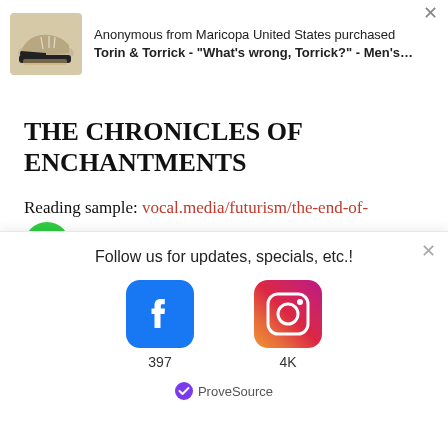[Figure (infographic): Notification banner showing a shoe product image with text: 'Anonymous from Maricopa United States purchased Torin & Torrick - What's wrong, Torrick? - Men's...' with a close X button]
THE CHRONICLES OF ENCHANTMENTS
Reading sample: vocal.media/futurism/the-end-of-ore
The Legend of Evaleana
[Figure (infographic): Follow us popup banner with Facebook (397 followers) and Instagram (4K followers) icons, and ProveSource badge at bottom]